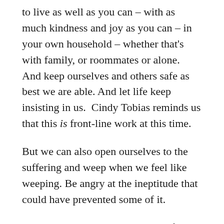to live as well as you can – with as much kindness and joy as you can – in your own household – whether that's with family, or roommates or alone.  And keep ourselves and others safe as best we are able. And let life keep insisting in us.  Cindy Tobias reminds us that this is front-line work at this time.
But we can also open ourselves to the suffering and weep when we feel like weeping. Be angry at the ineptitude that could have prevented some of it.
Be awed by the terrible mystery of it and our own vulnerability.
Call on the accompaniment and wisdom of the ancestors – they are helping us.